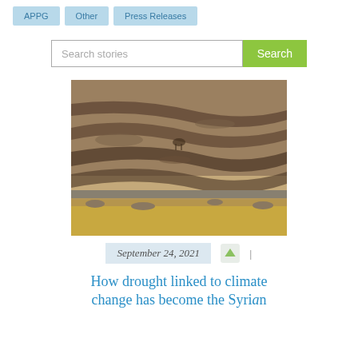APPG | Other | Press Releases
Search stories
[Figure (photo): Aerial or hillside view of dry, terraced agricultural land with stone walls and rocky soil, showing drought conditions.]
September 24, 2021
How drought linked to climate change has become the Syrian